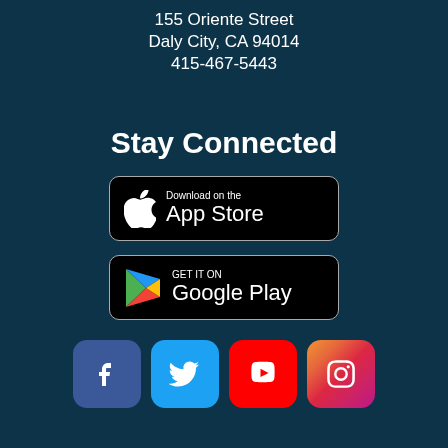155 Oriente Street
Daly City, CA 94014
415-467-5443
Stay Connected
[Figure (logo): Download on the App Store button - black rounded rectangle with Apple logo and text]
[Figure (logo): GET IT ON Google Play button - black rounded rectangle with Google Play triangle logo and text]
[Figure (infographic): Social media icons row: Facebook (dark blue), Twitter (light blue), YouTube (red), Instagram (gradient pink/purple)]